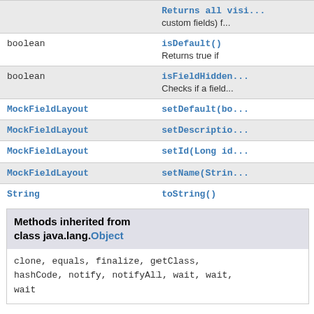| Type | Method |
| --- | --- |
|  | Returns all visi... custom fields) f... |
| boolean | isDefault()
Returns true if |
| boolean | isFieldHidden...
Checks if a field... |
| MockFieldLayout | setDefault(bo... |
| MockFieldLayout | setDescriptio... |
| MockFieldLayout | setId(Long id... |
| MockFieldLayout | setName(Strin... |
| String | toString() |
Methods inherited from class java.lang.Object
clone, equals, finalize, getClass, hashCode, notify, notifyAll, wait, wait, wait